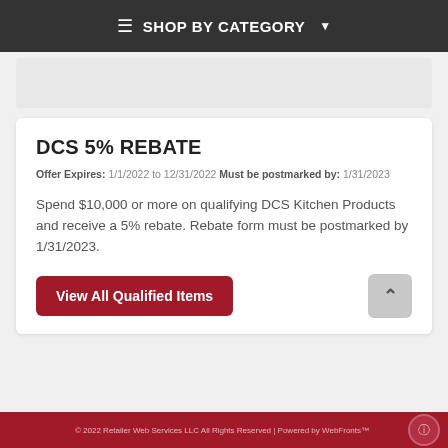≡ SHOP BY CATEGORY ▾
DCS 5% REBATE
Offer Expires: 1/1/2022 to 12/31/2022 Must be postmarked by: 1/31/2023
Spend $10,000 or more on qualifying DCS Kitchen Products and receive a 5% rebate. Rebate form must be postmarked by 1/31/2023.
View All Qualified Items
© 2022 Retailer Web Services LLC All Rights Reserved | Powered by WebFronts™